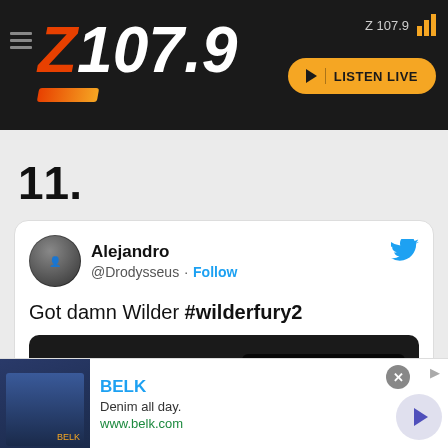Z 107.9 | LISTEN LIVE
11.
Alejandro @Drodysseus · Follow
Got damn Wilder #wilderfury2
Watch on Twitter
[Figure (screenshot): Advertisement banner for BELK: 'Denim all day. www.belk.com']